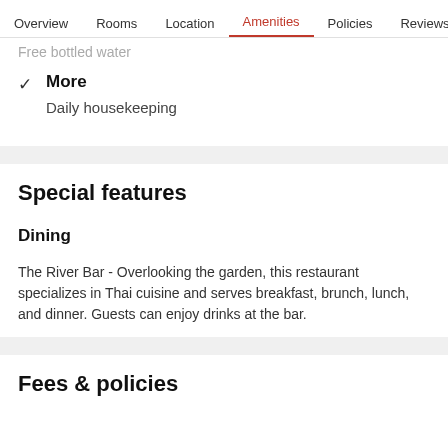Overview  Rooms  Location  Amenities  Policies  Reviews
Free bottled water
More
Daily housekeeping
Special features
Dining
The River Bar - Overlooking the garden, this restaurant specializes in Thai cuisine and serves breakfast, brunch, lunch, and dinner. Guests can enjoy drinks at the bar.
Fees & policies